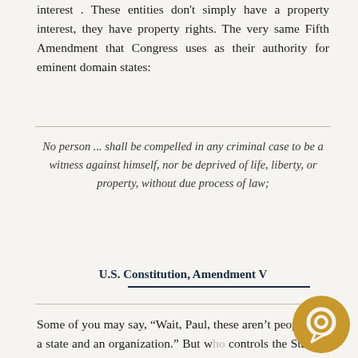interest . These entities don't simply have a property interest, they have property rights. The very same Fifth Amendment that Congress uses as their authority for eminent domain states:
No person ... shall be compelled in any criminal case to be a witness against himself, nor be deprived of life, liberty, or property, without due process of law;
U.S. Constitution, Amendment V
Some of you may say, “Wait, Paul, these aren’t people. It’s a state and an organization.” But who controls the State of New Jersey? Who ultimately owns whatever is owned by the State of New